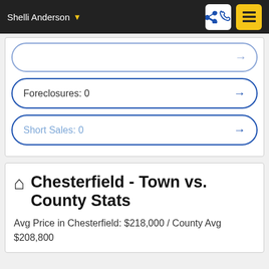Shelli Anderson
Foreclosures: 0
Short Sales: 0
Chesterfield - Town vs. County Stats
Avg Price in Chesterfield: $218,000 / County Avg $208,800